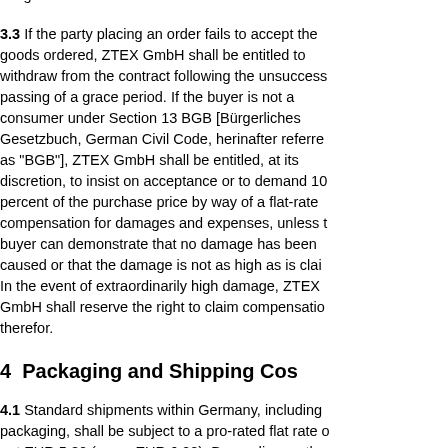force majeure, traffic disruptions and decrees issued by public authorities, as well as any other events for which we shall not be responsible, no damages can be sought from ZTEX GmbH.
3.3  If the party placing an order fails to accept the goods ordered, ZTEX GmbH shall be entitled to withdraw from the contract following the unsuccessful passing of a grace period. If the buyer is not a consumer under Section 13 BGB [Bürgerliches Gesetzbuch, German Civil Code, herinafter referred as "BGB"], ZTEX GmbH shall be entitled, at its discretion, to insist on acceptance or to demand 10 percent of the purchase price by way of a flat-rate compensation for damages and expenses, unless the buyer can demonstrate that no damage has been caused or that the damage is not as high as is claimed. In the event of extraordinarily high damage, ZTEX GmbH shall reserve the right to claim compensation therefor.
4  Packaging and Shipping Costs
4.1  Standard shipments within Germany, including packaging, shall be subject to a pro-rated flat rate of net EUR 5.80 (gross EUR 6.90). Depending on the payment method, additional fees may apply (see Section 5).